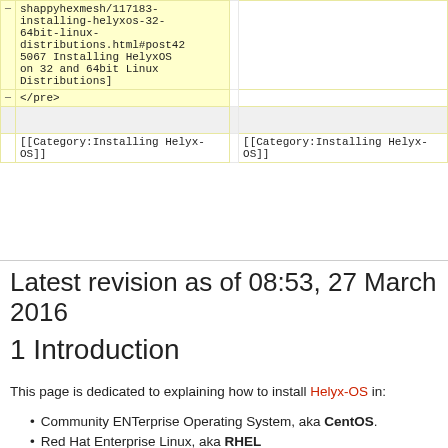| (line num) | Left (deleted) | (line num) | Right (current) |
| --- | --- | --- | --- |
| — | shappyhexmesh/117183-installing-helyxos-32-64bit-linux-distributions.html#post425067 Installing HelyxOS on 32 and 64bit Linux Distributions] |  |  |
| — | </pre> |  |  |
|  |  |  |  |
|  | [[Category:Installing Helyx-OS]] |  | [[Category:Installing Helyx-OS]] |
Latest revision as of 08:53, 27 March 2016
1 Introduction
This page is dedicated to explaining how to install Helyx-OS in:
Community ENTerprise Operating System, aka CentOS.
Red Hat Enterprise Linux, aka RHEL